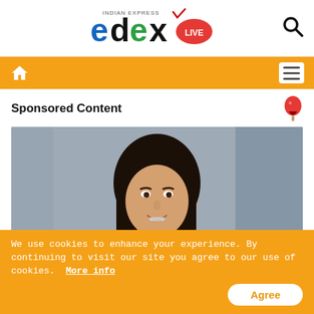edexlive - Indian Express
[Figure (logo): EdexLive logo with colorful letters e, d, e, x and a LIVE badge, Indian Express branding above]
Sponsored Content
[Figure (photo): Young woman with dark hair smiling, wearing a denim shirt, holding a bottle, blurred background]
You Might Be Surprised To
We use cookies to enhance your experience. By continuing to visit our site you agree to our use of cookies.  More info